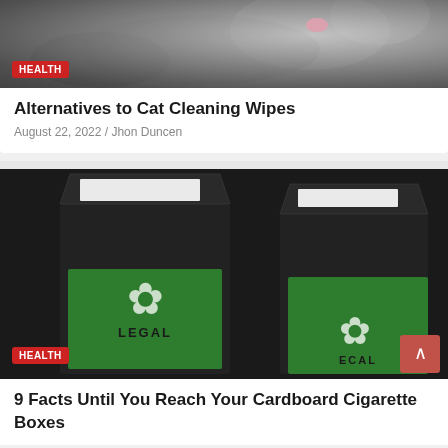[Figure (photo): Close-up photo of a cat's face with pink nose, black and white fur. Red HEALTH badge in lower left corner.]
Alternatives to Cat Cleaning Wipes
August 22, 2022 / Jhon Duncen
[Figure (photo): Two open black cardboard boxes with green labels reading LEGAL with a cannabis leaf, photographed on dark background. Red HEALTH badge in lower left corner. Scroll-to-top button on right.]
9 Facts Until You Reach Your Cardboard Cigarette Boxes